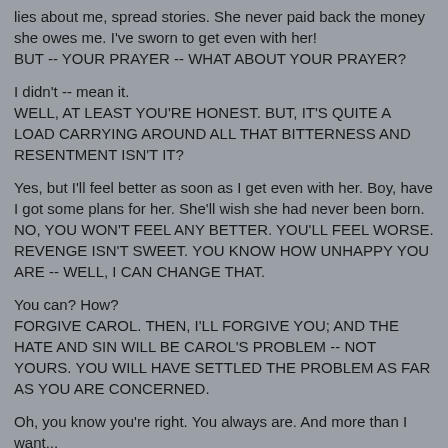lies about me, spread stories. She never paid back the money she owes me. I've sworn to get even with her!
BUT -- YOUR PRAYER -- WHAT ABOUT YOUR PRAYER?
I didn't -- mean it.
WELL, AT LEAST YOU'RE HONEST. BUT, IT'S QUITE A LOAD CARRYING AROUND ALL THAT BITTERNESS AND RESENTMENT ISN'T IT?
Yes, but I'll feel better as soon as I get even with her. Boy, have I got some plans for her. She'll wish she had never been born.
NO, YOU WON'T FEEL ANY BETTER. YOU'LL FEEL WORSE. REVENGE ISN'T SWEET. YOU KNOW HOW UNHAPPY YOU ARE -- WELL, I CAN CHANGE THAT.
You can? How?
FORGIVE CAROL. THEN, I'LL FORGIVE YOU; AND THE HATE AND SIN WILL BE CAROL'S PROBLEM -- NOT YOURS. YOU WILL HAVE SETTLED THE PROBLEM AS FAR AS YOU ARE CONCERNED.
Oh, you know you're right. You always are. And more than I want...